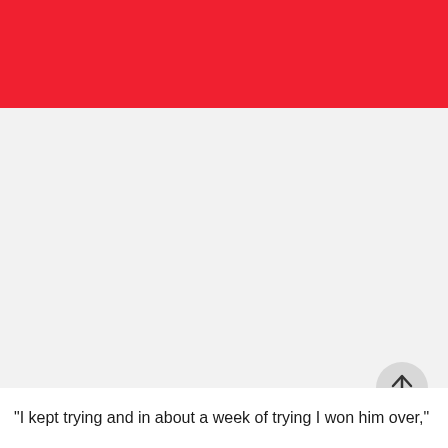[Figure (other): Red banner header bar at the top of a mobile app screen]
[Figure (other): Circular scroll-to-top button with upward arrow icon, light grey background]
"I kept trying and in about a week of trying I won him over,"